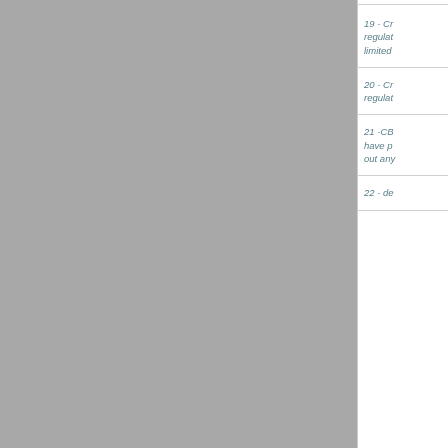19 - Cr... regulat... limited...
20 - Cr... regulat...
21 - CB... have p... out any...
22 - de...